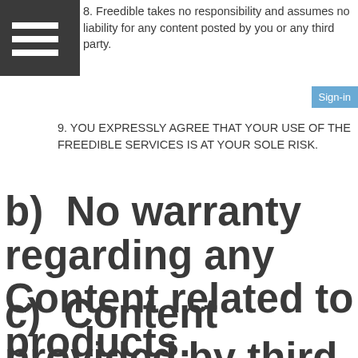8. Freedible takes no responsibility and assumes no liability for any content posted by you or any third party.
9. YOU EXPRESSLY AGREE THAT YOUR USE OF THE FREEDIBLE SERVICES IS AT YOUR SOLE RISK.
b)  No warranty regarding any Content related to products.
c)  Content provided by third parties on or through the Freedible Site.
(i) This le...